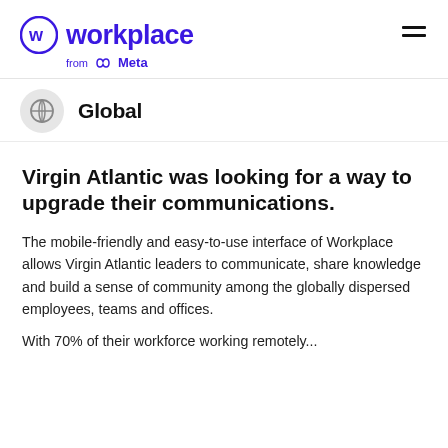workplace from Meta
Global
Virgin Atlantic was looking for a way to upgrade their communications.
The mobile-friendly and easy-to-use interface of Workplace allows Virgin Atlantic leaders to communicate, share knowledge and build a sense of community among the globally dispersed employees, teams and offices.
With 70% of their workforce working remotely...